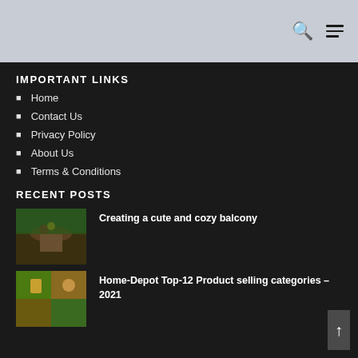[Navigation bar with search and menu icons]
IMPORTANT LINKS
Home
Contact Us
Privacy Policy
About Us
Terms & Conditions
RECENT POSTS
[Figure (photo): Photo thumbnail of a balcony scene with table and items]
Creating a cute and cozy balcony
[Figure (photo): Photo thumbnail of home depot products]
Home-Depot Top-12 Product selling categories – 2021